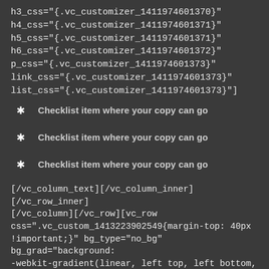h3_css="{.vc_customizer_1411974601370}"
h4_css="{.vc_customizer_1411974601371}"
h5_css="{.vc_customizer_1411974601371}"
h6_css="{.vc_customizer_1411974601372}"
p_css="{.vc_customizer_1411974601373}"
link_css="{.vc_customizer_1411974601373}"
list_css="{.vc_customizer_1411974601373}"]
Checklist item where your copy can go
Checklist item where your copy can go
Checklist item where your copy can go
[/vc_column_text][/vc_column_inner][/vc_row_inner][/vc_column][/vc_row][vc_row css=".vc_custom_1413223902549{margin-top: 40px !important;}" bg_type="no_bg" bg_grad="background: -webkit-gradient(linear, left top, left bottom, color-stop(0%, #FBFBFB), color-stop(50%, #E3E3E3),